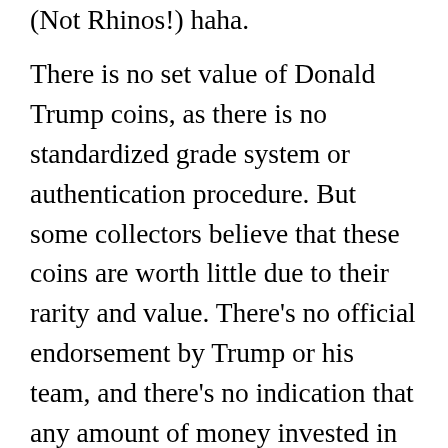(Not Rhinos!) haha.
There is no set value of Donald Trump coins, as there is no standardized grade system or authentication procedure. But some collectors believe that these coins are worth little due to their rarity and value. There’s no official endorsement by Trump or his team, and there’s no indication that any amount of money invested in the coins will lead to any special treatment in purchasing goods or services offered by Trump-owned businesses. So is it worth paying for the chance to have a brass coin that will eventually end up in an antique cabinet? It’s up the individual buyer to decide.